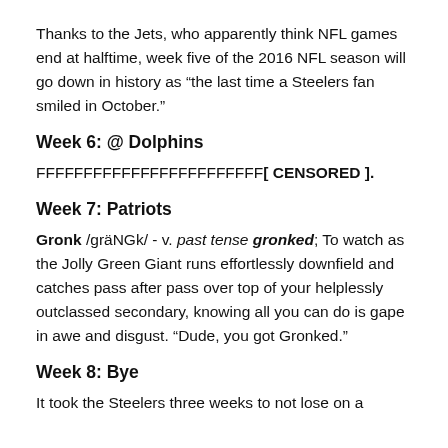Thanks to the Jets, who apparently think NFL games end at halftime, week five of the 2016 NFL season will go down in history as “the last time a Steelers fan smiled in October.”
Week 6: @ Dolphins
FFFFFFFFFFFFFFFFFFFFFFFF[ CENSORED ].
Week 7: Patriots
Gronk /gräNGk/ - v. past tense gronked; To watch as the Jolly Green Giant runs effortlessly downfield and catches pass after pass over top of your helplessly outclassed secondary, knowing all you can do is gape in awe and disgust. “Dude, you got Gronked.”
Week 8: Bye
It took the Steelers three weeks to not lose on a